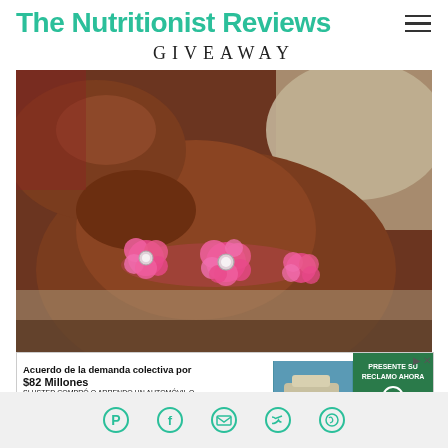The Nutritionist Reviews
GIVEAWAY
[Figure (photo): Close-up photo of a dachshund dog wearing a decorative pink satin ruffled collar with rhinestone accents, resting on a cream-colored surface.]
[Figure (screenshot): Advertisement banner in Spanish: 'Acuerdo de la demanda colectiva por $82 Millones. SI USTED COMPRO O ARRENDO UN AUTOMÓVIL O CAMIÓN NUEVO EN CALIFORNIA DESDE 2001 A 2003. PRESENTE SU RECLAMO AHORA' with a car image and green button with arrow.]
Social sharing icons: Pinterest, Facebook, Email, Twitter, WhatsApp